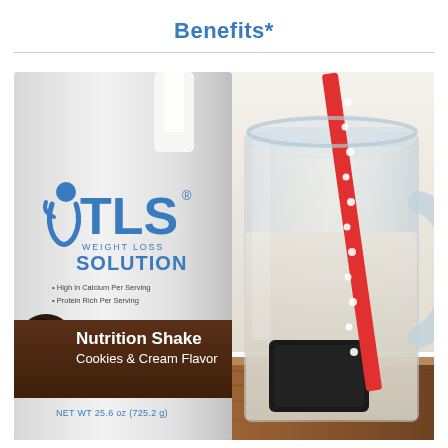Benefits*
[Figure (photo): Photo of TLS Weight Loss Solution Nutrition Shake Cookies & Cream Flavor container (NET WT 25.6 oz / 725.2 g) next to a glass mason jar filled with a milky shake and a red polka-dot straw, set on a wooden surface with a white background behind.]